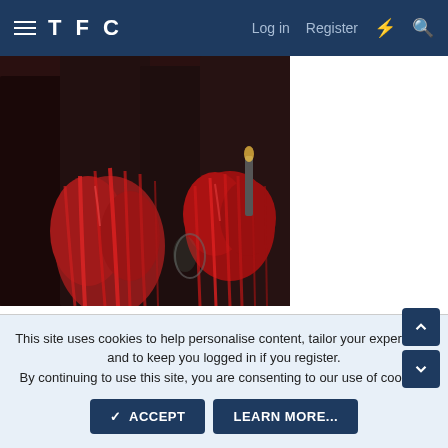TFC  Log in  Register
[Figure (photo): Dark scene with people in costumes, featuring bright red wigs/hair decorations on two figures, with glasses and red decorative items visible in background]
😐 5
TottsAmazeballs 🏆🏆🏆 SUPPORTER
3 Apr 2021   #7,250
This site uses cookies to help personalise content, tailor your experience and to keep you logged in if you register.
By continuing to use this site, you are consenting to our use of cookies.
✓ ACCEPT   LEARN MORE...